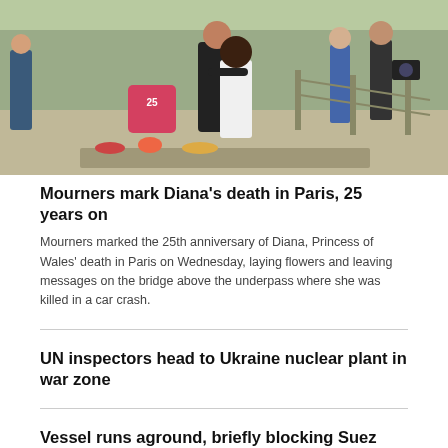[Figure (photo): People gathered at a Paris bridge memorial site marking the 25th anniversary of Princess Diana's death. A couple is seen from behind, arms around each other, with a heart-shaped tribute sign showing '25'. Other people and flowers are visible around them.]
Mourners mark Diana's death in Paris, 25 years on
Mourners marked the 25th anniversary of Diana, Princess of Wales' death in Paris on Wednesday, laying flowers and leaving messages on the bridge above the underpass where she was killed in a car crash.
UN inspectors head to Ukraine nuclear plant in war zone
Vessel runs aground, briefly blocking Suez Canal